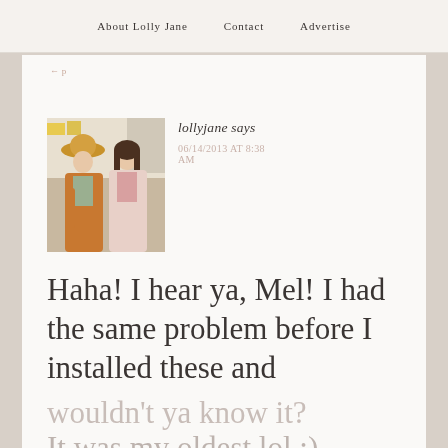About Lolly Jane   Contact   Advertise
[Figure (photo): Two women standing together smiling, one wearing an orange cardigan and hat, one in a pink top, in what appears to be a store or craft room setting]
lollyjane says
06/14/2013 AT 8:38 AM
Haha! I hear ya, Mel! I had the same problem before I installed these and wouldn't ya know it? It was my oldest lol :)